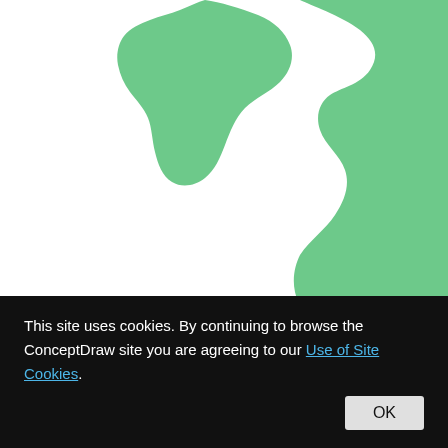[Figure (map): Partial map outline of Myanmar (Burma) shown in green on a white background, cropped so only the upper portion of the country silhouette is visible.]
Burma, officially the Republic of the Union of Myanmar, commonly shortened to Myanmar, is a sovereign state in Southeast
This site uses cookies. By continuing to browse the ConceptDraw site you are agreeing to our Use of Site Cookies.
OK